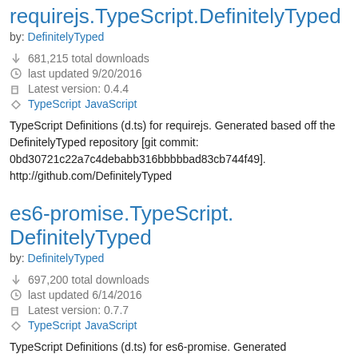requirejs.TypeScript.DefinitelyTyped
by: DefinitelyTyped
681,215 total downloads
last updated 9/20/2016
Latest version: 0.4.4
TypeScript JavaScript
TypeScript Definitions (d.ts) for requirejs. Generated based off the DefinitelyTyped repository [git commit: 0bd30721c22a7c4debabb316bbbbbad83cb744f49]. http://github.com/DefinitelyTyped
es6-promise.TypeScript.DefinitelyTyped
by: DefinitelyTyped
697,200 total downloads
last updated 6/14/2016
Latest version: 0.7.7
TypeScript JavaScript
TypeScript Definitions (d.ts) for es6-promise. Generated